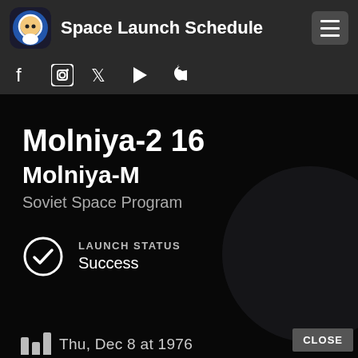Space Launch Schedule
[Figure (logo): Space Launch Schedule app icon — cartoon monkey astronaut in circle on dark background]
[Figure (infographic): Social media icons: Facebook, Instagram, Twitter, Google Play, Apple]
Molniya-2 16
Molniya-M
Soviet Space Program
LAUNCH STATUS
Success
CLOSE